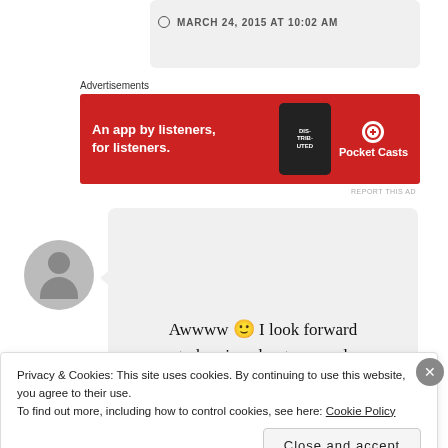MARCH 24, 2015 AT 10:02 AM
Advertisements
[Figure (other): Pocket Casts advertisement banner: red background, text 'An app by listeners, for listeners.' with phone image and Pocket Casts logo]
REPORT THIS AD
Natasha Duncan-Drake
Awwww 🙂 I look forward to hearing about you and
Privacy & Cookies: This site uses cookies. By continuing to use this website, you agree to their use.
To find out more, including how to control cookies, see here: Cookie Policy
Close and accept